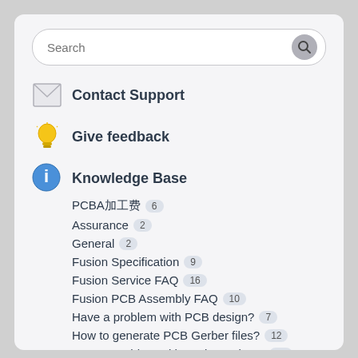[Figure (screenshot): Search bar with placeholder text 'Search' and a search button icon]
Contact Support
Give feedback
Knowledge Base
PCBA加工费 6
Assurance 2
General 2
Fusion Specification 9
Fusion Service FAQ 16
Fusion PCB Assembly FAQ 10
Have a problem with PCB design? 7
How to generate PCB Gerber files? 12
Have a problem with Fusion orders? 11
Fusion Technical FAQ 23
Have a shipment problem with Fusion orders? 8